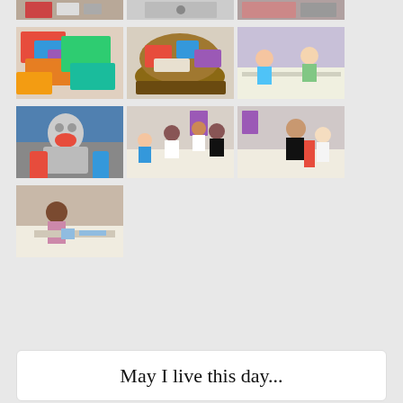[Figure (photo): Top partial row of three photos showing children and crafts activities]
[Figure (photo): Second row: pile of colorful fabrics/socks, basket of colorful items, children at table crafting]
[Figure (photo): Third row: sock monkey toy in basket, children at tables working on crafts, woman and girl at table]
[Figure (photo): Fourth row: girl at table working on craft project]
May I live this day...